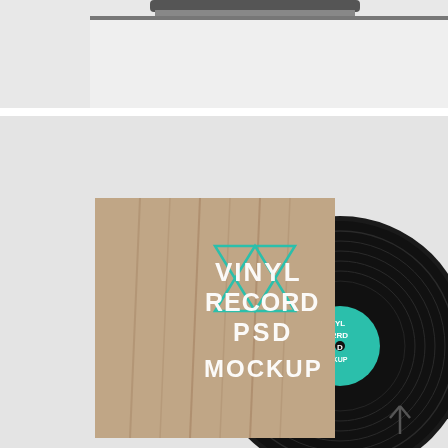[Figure (photo): Top portion of a photo showing what appears to be a dark object (possibly a vinyl record player arm or similar) against a light grey/white background]
[Figure (photo): Photo of a vinyl record album mockup: a square album cover with a woman's portrait and geometric star/triangle design in teal/mint color with white text reading 'VINYL RECORD PSD MOCKUP', with a black vinyl record partially visible behind it, shown against a light grey background. A small teal circular label is visible on the record. An upward arrow icon appears in the bottom-right corner.]